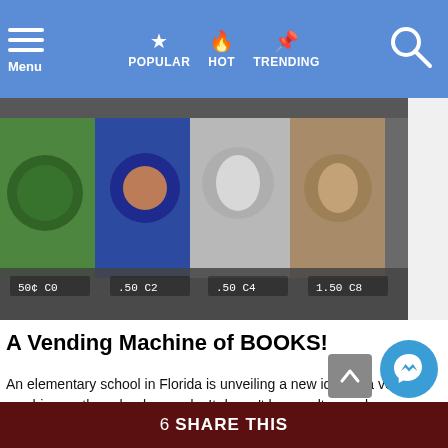Menu  POPULAR  HOT  TRENDING
[Figure (photo): Vending machine with book items visible through the glass, showing slots labeled C0, C2, C4, C8 at the bottom]
A Vending Machine of BOOKS!
An elementary school in Florida is unveiling a new idea of a vending machine on the school grounds. It doesn't have salty snacks, sugary treats, or cans of juice or soda, but still gets kids and they pump in 50 cents an order. The machine deals out books! The idea came from staff members and [...] MORE